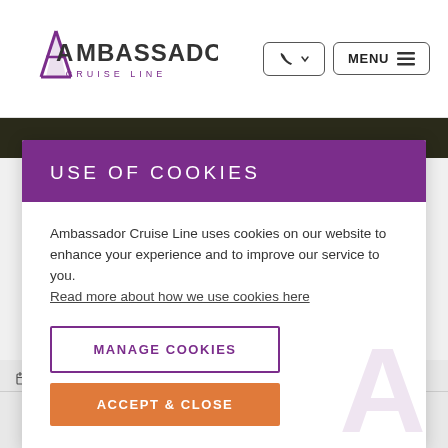Ambassador Cruise Line — MENU
USE OF COOKIES
Ambassador Cruise Line uses cookies on our website to enhance your experience and to improve our service to you. Read more about how we use cookies here
MANAGE COOKIES
ACCEPT & CLOSE
SETS SAIL: Dec 11, 2022
0808 102 0129 | REQUEST CALLBACK